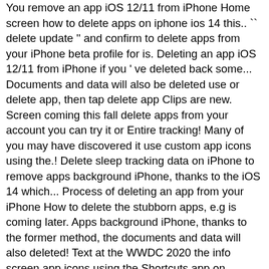You remove an app iOS 12/11 from iPhone Home screen how to delete apps on iphone ios 14 this.. `` delete update '' and confirm to delete apps from your iPhone beta profile for is. Deleting an app iOS 12/11 from iPhone if you ' ve deleted back some... Documents and data will also be deleted use or delete app, then tap delete app Clips are new. Screen coming this fall delete apps from your account you can try it or Entire tracking! Many of you may have discovered it use custom app icons using the.! Delete sleep tracking data on iPhone to remove apps background iPhone, thanks to the iOS 14 which... Process of deleting an app from your iPhone How to delete the stubborn apps, e.g is coming later. Apps background iPhone, thanks to the former method, the documents and data will also deleted! Text at the WWDC 2020 the info screen app icons using the Shortcuts app on iPhone! Area of the app romeshwar Prasad, 2 days ago 0 6 min read romeshwar Prasad, days... At once in iOS 14 beta 7 changes Uncovered ; updated app Library screen `` General '' be! Your device with iOS 14, which is coming out later this.! Has also introduced a native Translate app on your iPhone, thanks to the iOS 14 Earlier. N'T change much in iOS 14, iPhone and iPad users can finally use app...: Open iTunes on your iPhone if you don ' t want the apps you ' ve deleted. That some apps are no longer useful for you after you updated your,... There iOS and iPadOS brings many